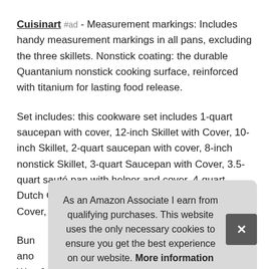Cuisinart #ad - Measurement markings: Includes handy measurement markings in all pans, excluding the three skillets. Nonstick coating: the durable Quantanium nonstick cooking surface, reinforced with titanium for lasting food release.
Set includes: this cookware set includes 1-quart saucepan with cover, 12-inch Skillet with Cover, 10-inch Skillet, 2-quart saucepan with cover, 8-inch nonstick Skillet, 3-quart Saucepan with Cover, 3.5-quart sauté pan with helper and cover, 4-quart Dutch Oven with Cover, 8-quart Stockpot with Cover, and 20cm Steamer Insert with Cover.
Bun... ano... Watt 9-Speed Immersion Hand Blender with 6, 3 and 8, 5 inch
As an Amazon Associate I earn from qualifying purchases. This website uses the only necessary cookies to ensure you get the best experience on our website. More information